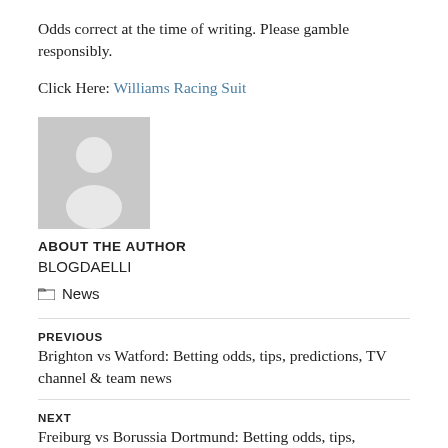Odds correct at the time of writing. Please gamble responsibly.
Click Here: Williams Racing Suit
[Figure (illustration): Default grey avatar/placeholder image of a person silhouette]
ABOUT THE AUTHOR
BLOGDAELLI
📁 News
PREVIOUS
Brighton vs Watford: Betting odds, tips, predictions, TV channel & team news
NEXT
Freiburg vs Borussia Dortmund: Betting odds, tips,